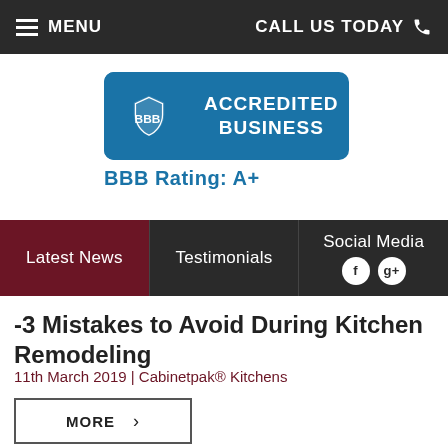MENU    CALL US TODAY
[Figure (logo): BBB Accredited Business badge with shield logo, blue background. BBB Rating: A+]
BBB Rating: A+
Latest News | Testimonials | Social Media
-3 Mistakes to Avoid During Kitchen Remodeling
11th March 2019 | Cabinetpak® Kitchens
MORE  >